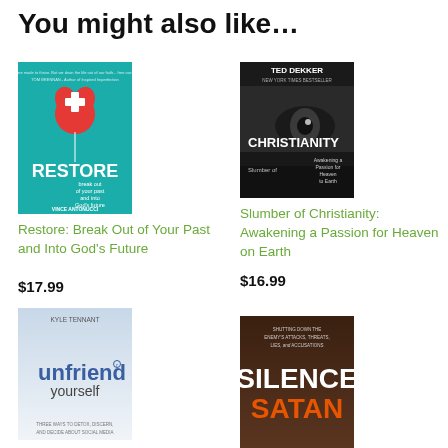You might also like…
[Figure (illustration): Book cover: Restore: Break Out of Your Past and Into God's Future by Vince Antonucci. Teal background with red heart balloon and white cross.]
Restore: Break Out of Your Past and Into God's Future
$17.99
[Figure (illustration): Book cover: Slumber of Christianity: Awakening a Passion for Heaven on Earth by Ted Dekker. Dark cover with close-up eye.]
Slumber of Christianity: Awakening a Passion for Heaven on Earth
$16.99
[Figure (illustration): Book cover: Unfriend Yourself by Kyle Tennant. Light blue/white background with bold text.]
[Figure (illustration): Book cover: Silence Satan. Dark brown cover with large bold title text.]